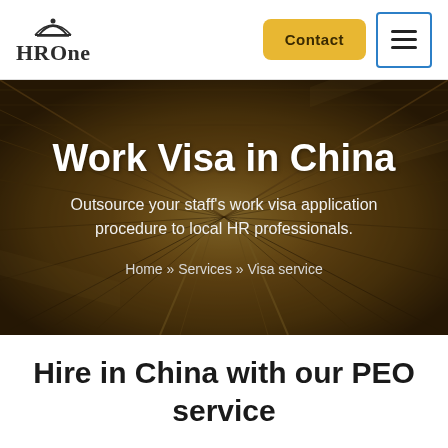[Figure (logo): HROne logo with decorative arch/crown icon above the text HROne]
Contact | menu
[Figure (photo): Dramatic perspective photo of a railway tunnel or bridge with steel girders and tracks converging to a vanishing point, motion blur effect, warm golden/brown tones]
Work Visa in China
Outsource your staff's work visa application procedure to local HR professionals.
Home » Services » Visa service
Hire in China with our PEO service